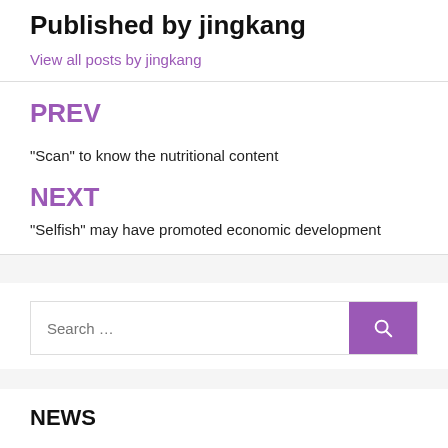Published by jingkang
View all posts by jingkang
PREV
“Scan” to know the nutritional content
NEXT
“Selfish” may have promoted economic development
Search …
NEWS